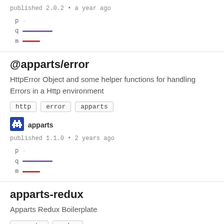published 2.0.2 • a year ago
[Figure (other): p q m legend with purple and red lines]
@apparts/error
HttpError Object and some helper functions for handling Errors in a Http environment
http
error
apparts
[Figure (logo): apparts user icon (blue pixel art)]
apparts
published 1.1.0 • 2 years ago
[Figure (other): p q m legend with purple and red lines]
apparts-redux
Apparts Redux Boilerplate
apparts
redux